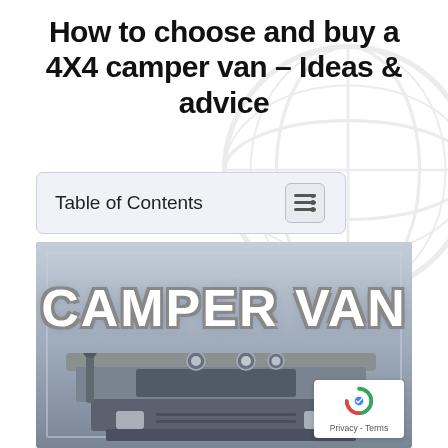How to choose and buy a 4X4 camper van – Ideas & advice
Table of Contents
[Figure (photo): Front/roof view of a 4X4 camper van with roof lights and snorkel, with large text overlay reading 'CAMPER VAN']